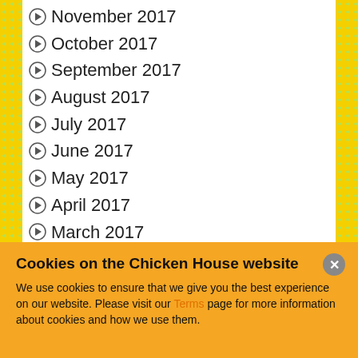November 2017
October 2017
September 2017
August 2017
July 2017
June 2017
May 2017
April 2017
March 2017
February 2017
January 2017
December 2016
November 2016
October 2016
September 2016
Cookies on the Chicken House website
We use cookies to ensure that we give you the best experience on our website. Please visit our Terms page for more information about cookies and how we use them.